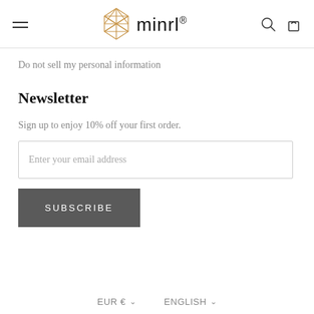minrl® — navigation header with hamburger menu, logo, search and cart icons
Do not sell my personal information
Newsletter
Sign up to enjoy 10% off your first order.
Enter your email address
SUBSCRIBE
EUR € ∨   ENGLISH ∨